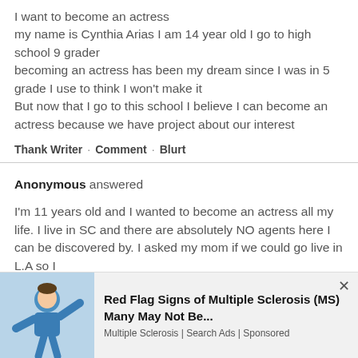I want to become an actress
my name is Cynthia Arias I am 14 year old I go to high school 9 grader
becoming an actress has been my dream since I was in 5 grade I use to think I won't make it
But now that I go to this school I believe I can become an actress because we have project about our interest
Thank Writer · Comment · Blurt
Anonymous answered
I'm 11 years old and I wanted to become an actress all my life. I live in SC and there are absolutely NO agents here I can be discovered by. I asked my mom if we could go live in L.A so I
[Figure (infographic): Advertisement banner for 'Red Flag Signs of Multiple Sclerosis (MS) Many May Not Be...' with an illustration of a person in blue, from Multiple Sclerosis | Search Ads | Sponsored, with a close (×) button.]